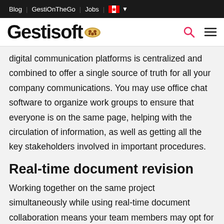Blog | GestiOnTheGo | Jobs | [CA flag]
[Figure (logo): Gestisoft logo with cookie/pretzel icon, search icon, and hamburger menu icon]
digital communication platforms is centralized and combined to offer a single source of truth for all your company communications. You may use office chat software to organize work groups to ensure that everyone is on the same page, helping with the circulation of information, as well as getting all the key stakeholders involved in important procedures.
Real-time document revision
Working together on the same project simultaneously while using real-time document collaboration means your team members may opt for whichever preferred document-editing software they like without having to worry about